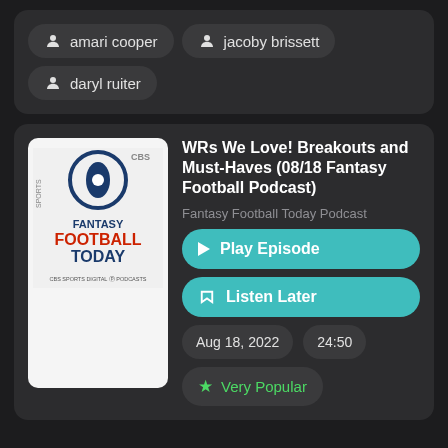amari cooper
jacoby brissett
daryl ruiter
WRs We Love! Breakouts and Must-Haves (08/18 Fantasy Football Podcast)
Fantasy Football Today Podcast
Play Episode
Listen Later
Aug 18, 2022
24:50
Very Popular